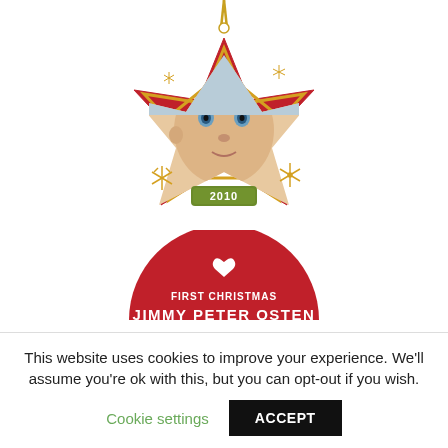[Figure (illustration): A red star-shaped ceramic photo ornament with a baby's photo in the center, gold decorative snowflake accents, a gold ribbon hanger, and a green banner reading '2010'.]
[Figure (illustration): A red half-circle ceramic ornament with a gold ribbon hanger, a white heart cutout at the top, and text reading 'FIRST CHRISTMAS' above 'JIMMY PETER OSTEN' in white, with a decorative green and red dot border at the bottom.]
This website uses cookies to improve your experience. We'll assume you're ok with this, but you can opt-out if you wish.
Cookie settings   ACCEPT